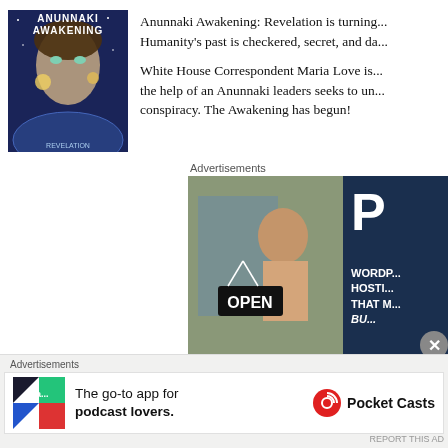[Figure (illustration): Book cover for 'Anunnaki Awakening: Revelation' showing a woman's face with ethereal imagery against a space/planet background]
Anunnaki Awakening: Revelation is turning... Humanity's past is checkered, secret, and da...
White House Correspondent Maria Love is... the help of an Anunnaki leaders seeks to un... conspiracy. The Awakening has begun!
Advertisements
[Figure (photo): Advertisement banner: left half shows a woman holding an OPEN sign at a business; right half shows dark blue background with text 'P... WORDP... HOSTI... THAT M... BU...']
Advertisements
[Figure (illustration): Pocket Casts app advertisement: colorful pinwheel logo on left, text 'The go-to app for podcast lovers.' and Pocket Casts brand logo on right]